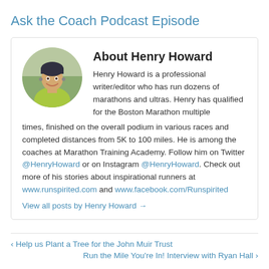Ask the Coach Podcast Episode
About Henry Howard
[Figure (photo): Circular portrait photo of Henry Howard, a man in a green jacket and dark beanie, smiling outdoors.]
Henry Howard is a professional writer/editor who has run dozens of marathons and ultras. Henry has qualified for the Boston Marathon multiple times, finished on the overall podium in various races and completed distances from 5K to 100 miles. He is among the coaches at Marathon Training Academy. Follow him on Twitter @HenryHoward or on Instagram @HenryHoward. Check out more of his stories about inspirational runners at www.runspirited.com and www.facebook.com/Runspirited
View all posts by Henry Howard →
‹ Help us Plant a Tree for the John Muir Trust
Run the Mile You're In! Interview with Ryan Hall ›